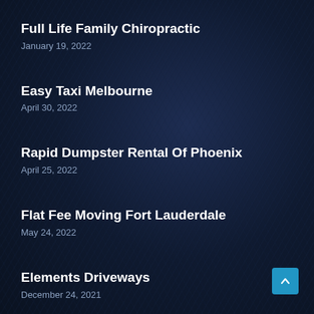Full Life Family Chiropractic
January 19, 2022
Easy Taxi Melbourne
April 30, 2022
Rapid Dumpster Rental Of Phoenix
April 25, 2022
Flat Fee Moving Fort Lauderdale
May 24, 2022
Elements Driveways
December 24, 2021